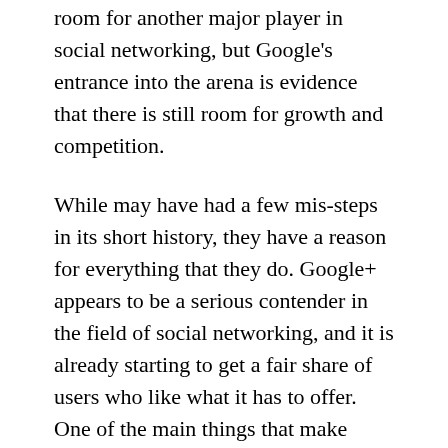room for another major player in social networking, but Google's entrance into the arena is evidence that there is still room for growth and competition.
While may have had a few mis-steps in its short history, they have a reason for everything that they do. Google+ appears to be a serious contender in the field of social networking, and it is already starting to get a fair share of users who like what it has to offer. One of the main things that make Google+ unique is the use of social circles. You put people into different circles, and then you get to decide what each circle gets to see. For example, you can put your co-workers in one